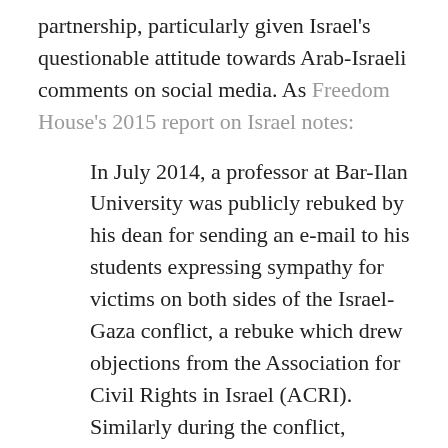partnership, particularly given Israel's questionable attitude towards Arab-Israeli comments on social media. As Freedom House's 2015 report on Israel notes:
In July 2014, a professor at Bar-Ilan University was publicly rebuked by his dean for sending an e-mail to his students expressing sympathy for victims on both sides of the Israel-Gaza conflict, a rebuke which drew objections from the Association for Civil Rights in Israel (ACRI). Similarly during the conflict, students at some universities, particularly Arab students, were reportedly subjected to monitoring and sanctions for social-media comments that were deemed offensive or extremist.